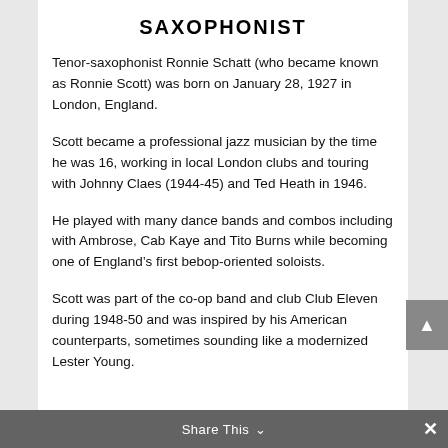SAXOPHONIST
Tenor-saxophonist Ronnie Schatt (who became known as Ronnie Scott) was born on January 28, 1927 in London, England.
Scott became a professional jazz musician by the time he was 16, working in local London clubs and touring with Johnny Claes (1944-45) and Ted Heath in 1946.
He played with many dance bands and combos including with Ambrose, Cab Kaye and Tito Burns while becoming one of England’s first bebop-oriented soloists.
Scott was part of the co-op band and club Club Eleven during 1948-50 and was inspired by his American counterparts, sometimes sounding like a modernized Lester Young.